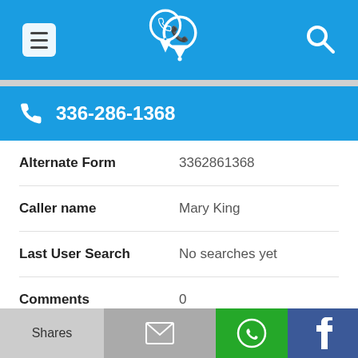[Figure (screenshot): Mobile app top navigation bar with menu icon, phone/location center icon, and search icon on blue background]
336-286-1368
| Alternate Form | 3362861368 |
| Caller name | Mary King |
| Last User Search | No searches yet |
| Comments | 0 |
336-286-1617
Shares | (mail) | (WhatsApp) | (Facebook)